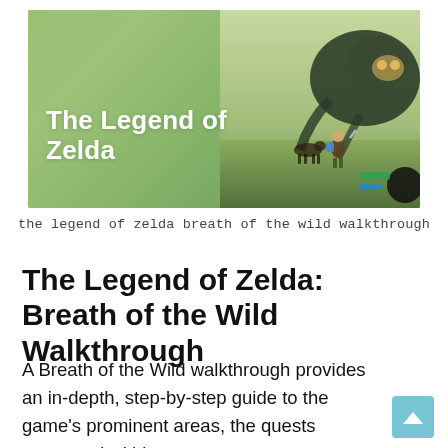[Figure (screenshot): Screenshot from The Legend of Zelda: Breath of the Wild showing Link on horseback facing a large creature, with a green overlay on the left side and the bold white text 'The Legend of Zelda' overlaid.]
the legend of zelda breath of the wild walkthrough
The Legend of Zelda: Breath of the Wild Walkthrough
A Breath of the Wild walkthrough provides an in-depth, step-by-step guide to the game's prominent areas, the quests presented within